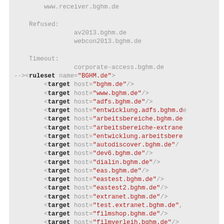www.receiver.bghm.de

Refused:
    av2013.bghm.de
    webcon2013.bghm.de

Timeout:
    corporate-access.bghm.de
--><ruleset name="BGHM.de">
    <target host="bghm.de"/>
    <target host="www.bghm.de"/>
    <target host="adfs.bghm.de"/>
    <target host="entwicklung.adfs.bghm.de"/>
    <target host="arbeitsbereiche.bghm.de"/>
    <target host="arbeitsbereiche-extranet..."/>
    <target host="entwicklung.arbeitsbere..."/>
    <target host="autodiscover.bghm.de"/>
    <target host="dev6.bghm.de"/>
    <target host="dialin.bghm.de"/>
    <target host="eas.bghm.de"/>
    <target host="eastest.bghm.de"/>
    <target host="eastest2.bghm.de"/>
    <target host="extranet.bghm.de"/>
    <target host="test.extranet.bghm.de"/>
    <target host="filmshop.bghm.de"/>
    <target host="filmverleih.bghm.de"/>
    <target host="intranet.bghm.de"/>
    <target host="lswebpool.bghm.de"/>
    <target host="lyncdiscover.bghm.de"/>
    <target host="lmsat.bghm.de"/>